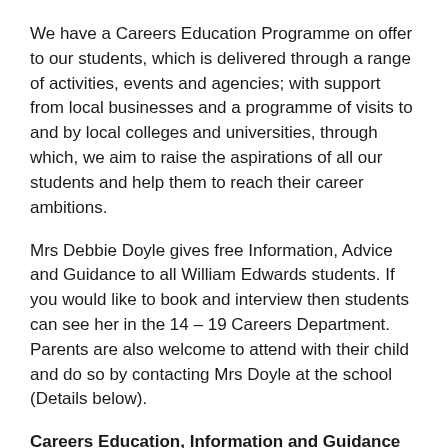We have a Careers Education Programme on offer to our students, which is delivered through a range of activities, events and agencies; with support from local businesses and a programme of visits to and by local colleges and universities, through which, we aim to raise the aspirations of all our students and help them to reach their career ambitions.
Mrs Debbie Doyle gives free Information, Advice and Guidance to all William Edwards students. If you would like to book and interview then students can see her in the 14 – 19 Careers Department. Parents are also welcome to attend with their child and do so by contacting Mrs Doyle at the school (Details below).
Careers Education, Information and Guidance at William Edwards aims to enable Students to:
Learn more about technical education qualifications and apprenticeship opportunities, as part of a career